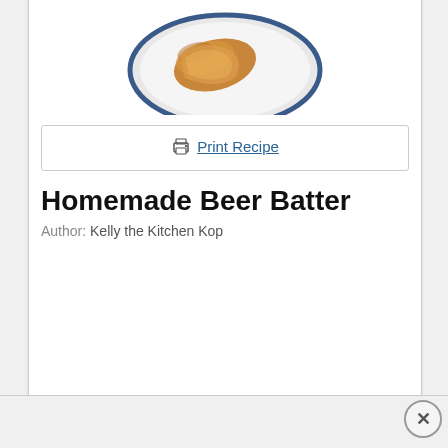[Figure (photo): A plate of beer-battered fried food on a white plate with blue rim, viewed from above]
🖨 Print Recipe
Homemade Beer Batter
Author: Kelly the Kitchen Kop